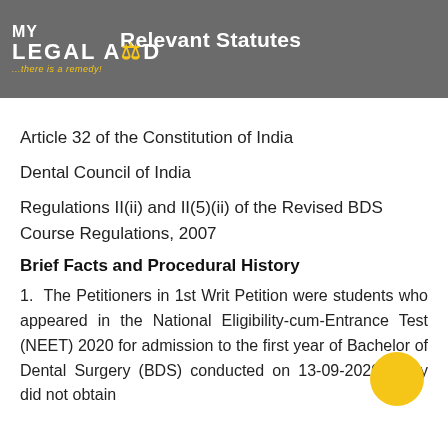[Figure (logo): My Legal Aid logo with scales of justice icon and tagline '...there is a remedy!']
Relevant Statutes
Article 32 of the Constitution of India
Dental Council of India
Regulations II(ii) and II(5)(ii) of the Revised BDS Course Regulations, 2007
Brief Facts and Procedural History
1.  The Petitioners in 1st Writ Petition were students who appeared in the National Eligibility-cum-Entrance Test (NEET) 2020 for admission to the first year of Bachelor of Dental Surgery (BDS) conducted on 13-09-2020. They did not obtain